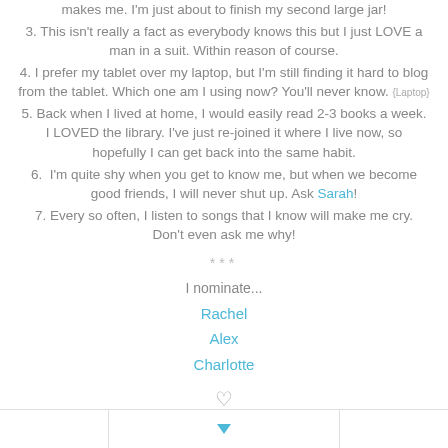makes me. I'm just about to finish my second large jar!
3. This isn't really a fact as everybody knows this but I just LOVE a man in a suit. Within reason of course.
4. I prefer my tablet over my laptop, but I'm still finding it hard to blog from the tablet. Which one am I using now? You'll never know. {Laptop}
5. Back when I lived at home, I would easily read 2-3 books a week. I LOVED the library. I've just re-joined it where I live now, so hopefully I can get back into the same habit.
6.  I'm quite shy when you get to know me, but when we become good friends, I will never shut up. Ask Sarah!
7. Every so often, I listen to songs that I know will make me cry. Don't even ask me why!
***
I nominate...
Rachel
Alex
Charlotte
♡